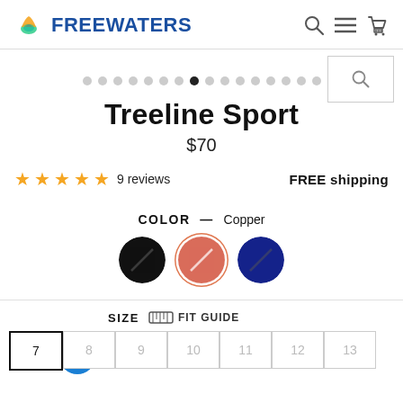[Figure (logo): Freewaters logo with leaf/water icon and bold blue text]
[Figure (infographic): Navigation icons: magnifying glass, hamburger menu, shopping cart]
[Figure (infographic): Search box with magnifying glass icon]
[Figure (infographic): Image carousel dots, 15 dots total, 8th dot is active/filled]
Treeline Sport
$70
★★★★★ 9 reviews
FREE shipping
COLOR — Copper
[Figure (infographic): Three color swatches: black, copper/red (selected with outline), dark navy blue]
SIZE  FIT GUIDE
[Figure (infographic): Accessibility icon (person in circle) blue button]
Size options: 7 (selected), 8, 9, 10, 11, 12, 13